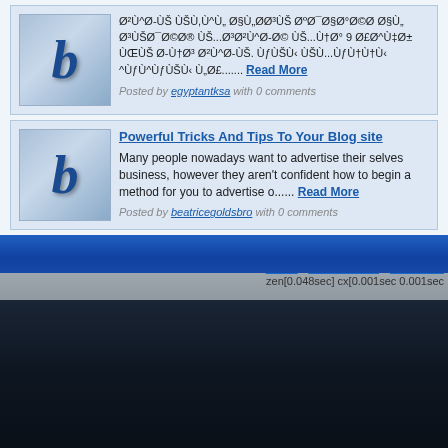[Figure (screenshot): Blog thumbnail with letter b in metallic blue style]
Ø²Ù^Ø-ÙŠ ÙŠÙ,Ù^Ù„ Ø§Ù„ØØ³ÙŠ ØºØ¯Ø§Ø°Ø©Ø Ø§Ù„ (garbled Arabic text) ...... Read More
Posted by egyptantksa with 0 comments
Powerful Tricks And Tips To Your Blog site
[Figure (screenshot): Blog thumbnail with letter b in metallic blue style]
Many people nowadays want to advertise their selves business, however they aren't confident how to begin a method for you to advertise o...... Read More
Posted by beatricegoldsbro with 0 comments
Home • Terms of Use • Code of C
zen[0.048sec] cx[0.001sec 0.001sec